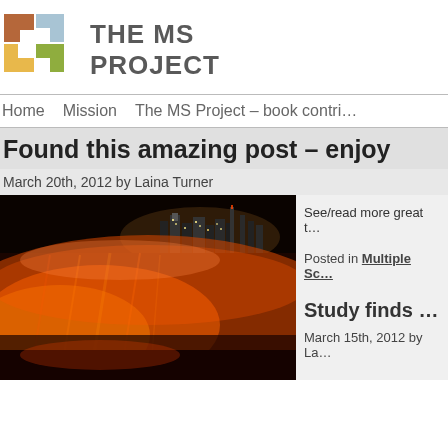[Figure (logo): The MS Project logo with colorful puzzle-piece icon and bold grey text]
Home   Mission   The MS Project – book contri…
Found this amazing post – enjoy
March 20th, 2012 by Laina Turner
[Figure (photo): Night photo of Niagara Falls illuminated in orange/red light with city skyline in background]
See/read more great t…
Posted in Multiple Sc…
Study finds …
March 15th, 2012 by La…